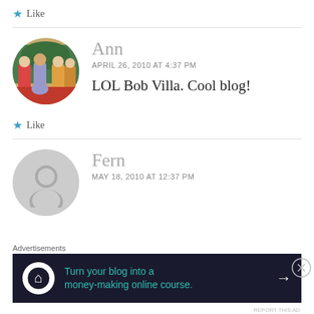★ Like
[Figure (photo): Profile photo of Ann - group of women in traditional Japanese kimono attire]
Ann
APRIL 26, 2010 AT 4:37 PM
LOL Bob Villa. Cool blog!
★ Like
[Figure (illustration): Generic gray placeholder avatar icon for Fern]
Fern
MAY 18, 2010 AT 12:37 PM
Advertisements
Turn your blog into a money-making online course.